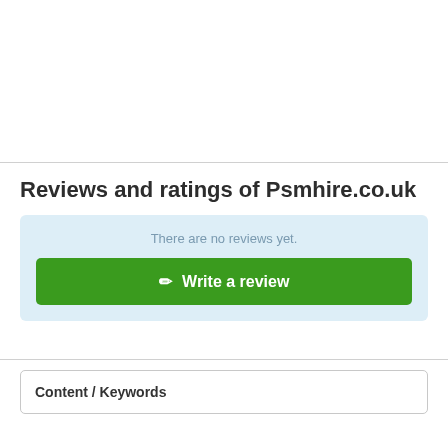Reviews and ratings of Psmhire.co.uk
There are no reviews yet.
Write a review
Content / Keywords